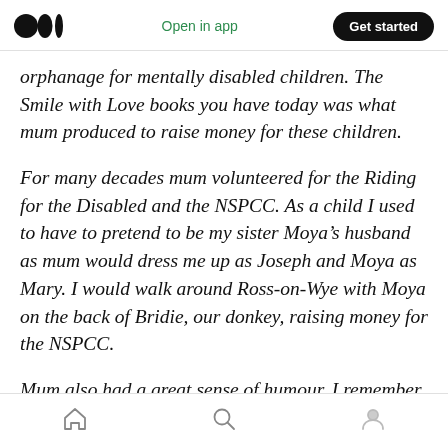Open in app | Get started
orphanage for mentally disabled children. The Smile with Love books you have today was what mum produced to raise money for these children.
For many decades mum volunteered for the Riding for the Disabled and the NSPCC. As a child I used to have to pretend to be my sister Moya’s husband as mum would dress me up as Joseph and Moya as Mary. I would walk around Ross-on-Wye with Moya on the back of Bridie, our donkey, raising money for the NSPCC.
Mum also had a great sense of humour. I remember
Home | Search | Profile